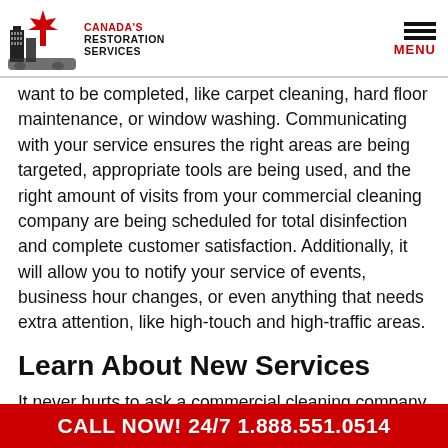Canada's Restoration Services | MENU
want to be completed, like carpet cleaning, hard floor maintenance, or window washing. Communicating with your service ensures the right areas are being targeted, appropriate tools are being used, and the right amount of visits from your commercial cleaning company are being scheduled for total disinfection and complete customer satisfaction. Additionally, it will allow you to notify your service of events, business hour changes, or even anything that needs extra attention, like high-touch and high-traffic areas.
Learn About New Services
It never hurts to ask a commercial cleaning company what kind of new services they may have, especially when it comes
CALL NOW! 24/7 1.888.551.0514